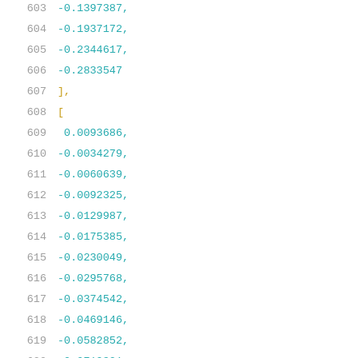603    -0.1397387,
604    -0.1937172,
605    -0.2344617,
606    -0.2833547
607    ],
608    [
609     0.0093686,
610    -0.0034279,
611    -0.0060639,
612    -0.0092325,
613    -0.0129987,
614    -0.0175385,
615    -0.0230049,
616    -0.0295768,
617    -0.0374542,
618    -0.0469146,
619    -0.0582852,
620    -0.0719321,
621    -0.0882999,
622    -0.1079447,
623    -0.1315229,
624    -0.1598141,